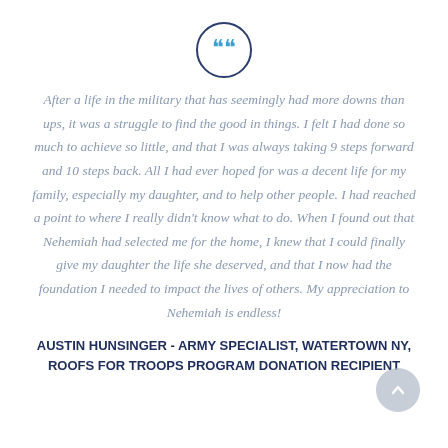[Figure (illustration): A circle with a dark navy border containing a blue double quotation mark icon]
After a life in the military that has seemingly had more downs than ups, it was a struggle to find the good in things. I felt I had done so much to achieve so little, and that I was always taking 9 steps forward and 10 steps back. All I had ever hoped for was a decent life for my family, especially my daughter, and to help other people. I had reached a point to where I really didn't know what to do. When I found out that Nehemiah had selected me for the home, I knew that I could finally give my daughter the life she deserved, and that I now had the foundation I needed to impact the lives of others. My appreciation to Nehemiah is endless!
AUSTIN HUNSINGER - ARMY SPECIALIST, WATERTOWN NY, ROOFS FOR TROOPS PROGRAM DONATION RECIPIENT